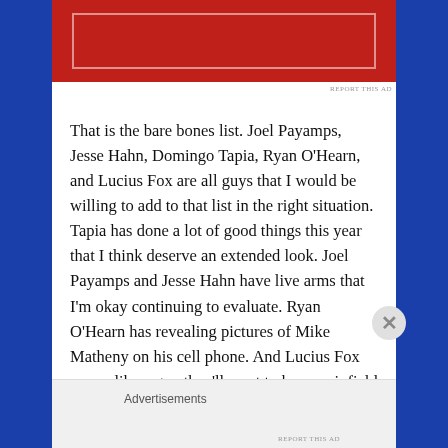[Figure (other): Red advertisement banner at top of page with white inner border box]
That is the bare bones list. Joel Payamps, Jesse Hahn, Domingo Tapia, Ryan O'Hearn, and Lucius Fox are all guys that I would be willing to add to that list in the right situation. Tapia has done a lot of good things this year that I think deserve an extended look. Joel Payamps and Jesse Hahn have live arms that I'm okay continuing to evaluate. Ryan O'Hearn has revealing pictures of Mike Matheny on his cell phone. And Lucius Fox seems like a guy they'll want to keep as infield depth.
That's 7 names that will clear up spots on the 40-man roster immediately, giving us 6 spots on the 40 after Hahn and Bolanos are added
Advertisements